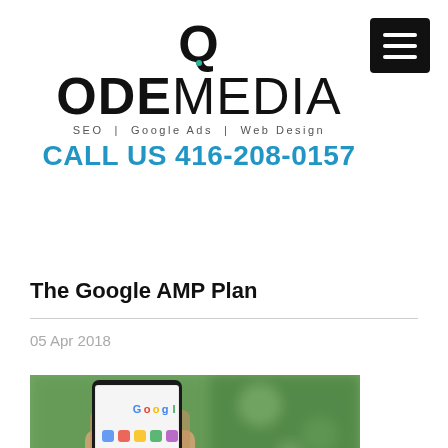QODEMEDIA SEO | Google Ads | Web Design CALL US 416-208-0157
The Google AMP Plan
05 Apr 2018
[Figure (photo): Photo of a hand holding a smartphone with a Google search screen visible, blurred green background]